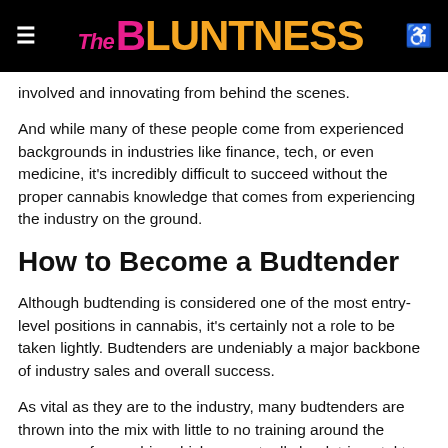The BLUNTNESS
involved and innovating from behind the scenes.
And while many of these people come from experienced backgrounds in industries like finance, tech, or even medicine, it's incredibly difficult to succeed without the proper cannabis knowledge that comes from experiencing the industry on the ground.
How to Become a Budtender
Although budtending is considered one of the most entry-level positions in cannabis, it's certainly not a role to be taken lightly. Budtenders are undeniably a major backbone of industry sales and overall success.
As vital as they are to the industry, many budtenders are thrown into the mix with little to no training around the nuances of cannabis, which can actually be detrimental to the consumers and industry as a whole.